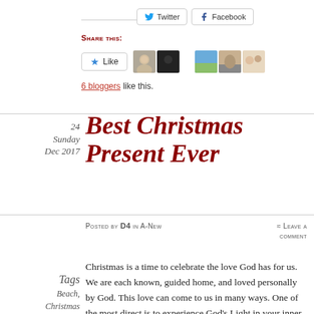Share this: Twitter Facebook
[Figure (screenshot): Like button with star icon, plus 5 blogger avatar thumbnails]
6 bloggers like this.
24
Sunday
Dec 2017
Best Christmas Present Ever
Posted by D4 in A-New
≈ Leave a comment
Christmas is a time to celebrate the love God has for us. We are each known, guided home, and loved personally by God. This love can come to us in many ways. One of the most direct is to experience God's Light in your inner vision or in the physical itself. The
Tags
Beach,
Christmas